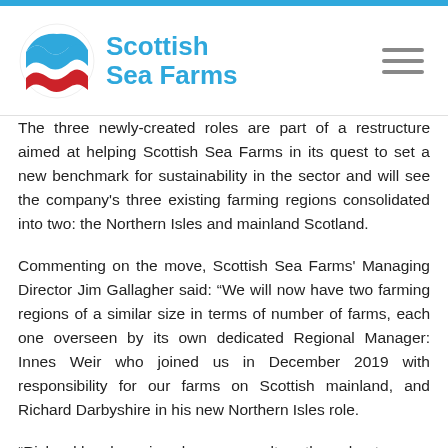[Figure (logo): Scottish Sea Farms logo with circular wave emblem in blue and red, beside text 'Scottish Sea Farms' in blue]
The three newly-created roles are part of a restructure aimed at helping Scottish Sea Farms in its quest to set a new benchmark for sustainability in the sector and will see the company's three existing farming regions consolidated into two: the Northern Isles and mainland Scotland.
Commenting on the move, Scottish Sea Farms' Managing Director Jim Gallagher said: “We will now have two farming regions of a similar size in terms of number of farms, each one overseen by its own dedicated Regional Manager: Innes Weir who joined us in December 2019 with responsibility for our farms on Scottish mainland, and Richard Darbyshire in his new Northern Isles role.
“Richard has been in salmon aquaculture throughout...